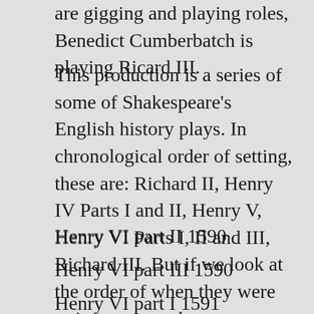are gigging and playing roles, Benedict Cumberbatch is playing Ricard III.
This production is a series of some of Shakespeare's English history plays. In chronological order of setting, these are: Richard II, Henry IV Parts I and II, Henry V, Henry VI Parts I, II and III, Richard III. But if we look at the order of when they were written we see that Shakespeare may not have had a series in mind.
Henry VI part II 1590
Henry VI part III 1590
Henry VI part I  1591